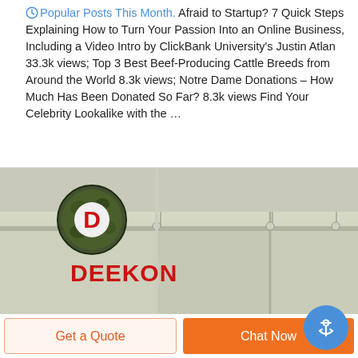Popular Posts This Month. Afraid to Startup? 7 Quick Steps Explaining How to Turn Your Passion Into an Online Business, Including a Video Intro by ClickBank University's Justin Atlan 33.3k views; Top 3 Best Beef-Producing Cattle Breeds from Around the World 8.3k views; Notre Dame Donations – How Much Has Been Donated So Far? 8.3k views Find Your Celebrity Lookalike with the …
[Figure (photo): Photo of a military/camping tent with olive-green fabric panels and metal poles. A DEEKON logo (circular badge with camouflage pattern and red letter D) and red DEEKON text are visible in the foreground.]
Get a Quote
Chat Now